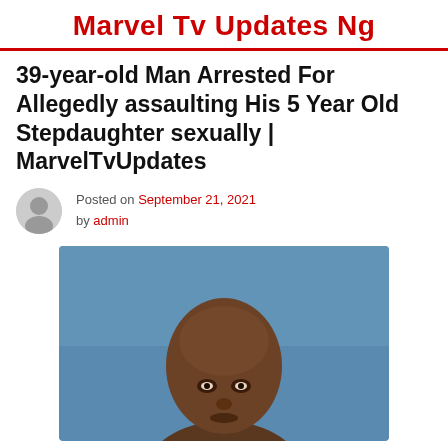Marvel Tv Updates Ng
39-year-old Man Arrested For Allegedly assaulting His 5 Year Old Stepdaughter sexually | MarvelTvUpdates
Posted on September 21, 2021 by admin
[Figure (photo): Portrait photo of a man against a blue background, head and upper face visible]